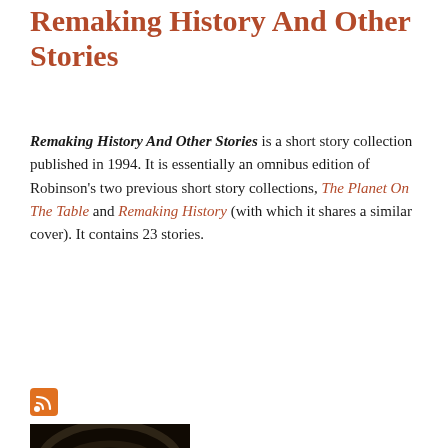Remaking History And Other Stories
Remaking History And Other Stories is a short story collection published in 1994. It is essentially an omnibus edition of Robinson's two previous short story collections, The Planet On The Table and Remaking History (with which it shares a similar cover). It contains 23 stories.
Read More
[Figure (other): RSS feed icon - orange square with white wifi/RSS symbol]
[Figure (photo): Book cover for 'The Ministry For' showing text on dark background with architectural spiral and blue orb]